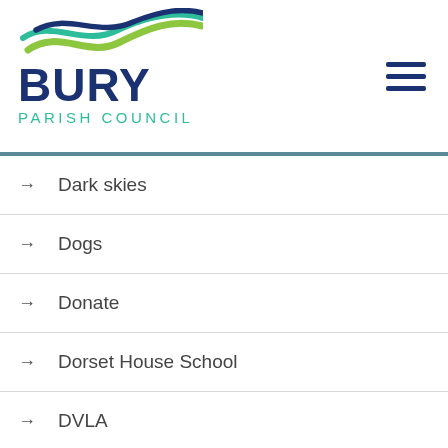[Figure (logo): Bury Parish Council logo with wave graphic in green and blue, bold navy text BURY and teal text PARISH COUNCIL]
→ Dark skies
→ Dogs
→ Donate
→ Dorset House School
→ DVLA
→ Easter